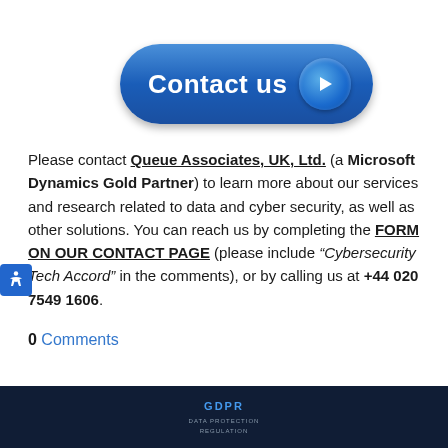[Figure (other): Blue pill-shaped 'Contact us' button with a circular arrow icon on the right]
Please contact Queue Associates, UK, Ltd. (a Microsoft Dynamics Gold Partner) to learn more about our services and research related to data and cyber security, as well as other solutions. You can reach us by completing the FORM ON OUR CONTACT PAGE (please include "Cybersecurity Tech Accord" in the comments), or by calling us at +44 020 7549 1606.
0 Comments
[Figure (photo): Dark blue image at the bottom with GDPR text visible]